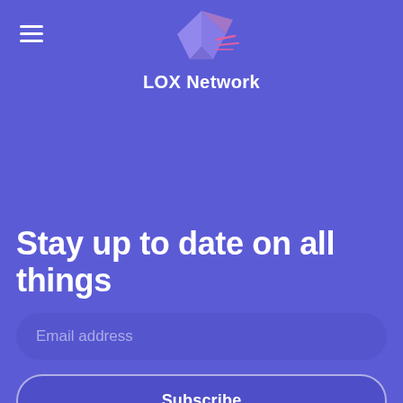[Figure (logo): LOX Network origami-style 3D paper crane/fox logo in purple and pink tones]
LOX Network
Stay up to date on all things
Email address
Subscribe